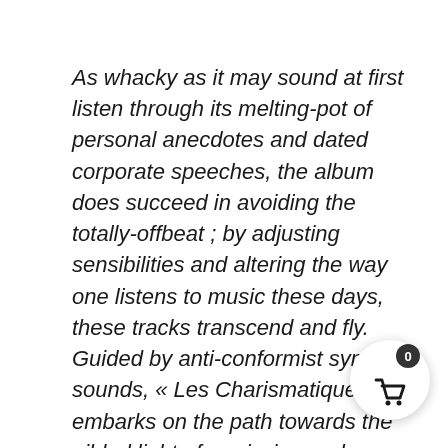As whacky as it may sound at first listen through its melting-pot of personal anecdotes and dated corporate speeches, the album does succeed in avoiding the totally-offbeat ; by adjusting sensibilities and altering the way one listens to music these days, these tracks transcend and fly. Guided by anti-conformist synth-sounds, « Les Charismatiques » embarks on the path towards the gilded light of remission and spiritual rebirth !
New collaborations have also emerged on this album from long-lasting friendships but also impromptu meetings, with HAJJ firstly, the Dawn Records' b… who needs no introduction, but also with their Lyo… friend Amélie Arcuri alias Bigoudi, half of Schmilblick